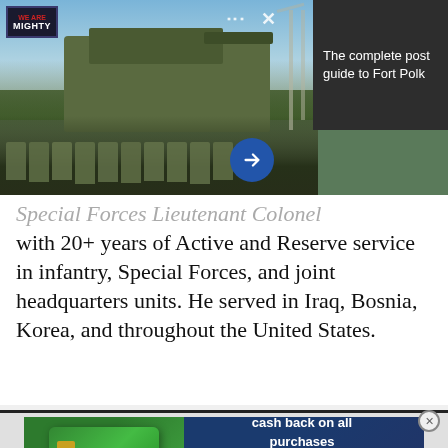[Figure (photo): Military soldiers in camouflage uniforms standing in front of a tank, with a dark overlay panel in the top-right showing 'The complete post guide to Fort Polk' text, and a We Are The Mighty logo in the top-left corner.]
Special Forces Lieutenant Colonel with 20+ years of Active and Reserve service in infantry, Special Forces, and joint headquarters units. He served in Iraq, Bosnia, Korea, and throughout the United States.
[Figure (infographic): Navy Federal Credit Union advertisement: 'Earn up to 1.75% cash back on all purchases' with a green credit card image on the left and the Navy Federal Credit Union logo with a Learn More button on the right.]